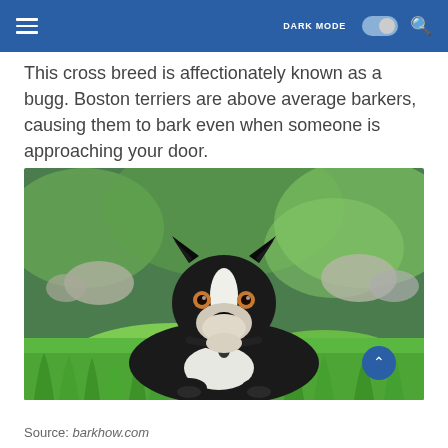DARK MODE [toggle] [search]
This cross breed is affectionately known as a bugg. Boston terriers are above average barkers, causing them to bark even when someone is approaching your door.
[Figure (photo): A black and white Boston Terrier dog lying on green grass, looking at the camera. The dog has pointed ears, amber eyes, a white stripe on its face, and wears a dark collar with a tag. Background shows blurred green foliage.]
Source: barkhow.com